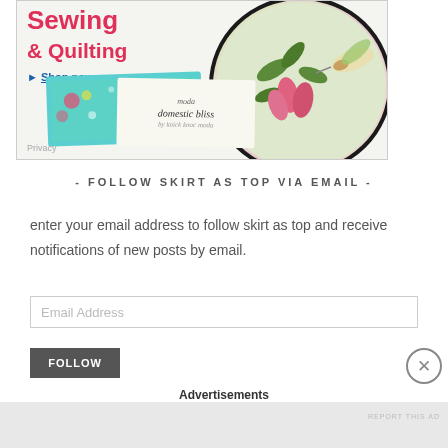[Figure (illustration): Advertisement banner for Sewing & Quilting shop. Shows 'Sewing & Quilting' text in pink/red, a 'Shop now' link in blue, a circular embroidery hoop with hummingbird and flowers design, and a teal fabric swatch with 'moda domestic bliss' label. Privacy text at bottom left.]
- FOLLOW SKIRT AS TOP VIA EMAIL -
enter your email address to follow skirt as top and receive notifications of new posts by email.
Email Address
FOLLOW
Advertisements
[Figure (illustration): Close button (X in circle) overlay element]